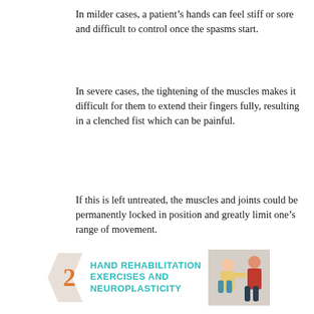In milder cases, a patient’s hands can feel stiff or sore and difficult to control once the spasms start.
In severe cases, the tightening of the muscles makes it difficult for them to extend their fingers fully, resulting in a clenched fist which can be painful.
If this is left untreated, the muscles and joints could be permanently locked in position and greatly limit one’s range of movement.
[Figure (infographic): Banner with number 2 inside a chevron shape, teal text reading HAND REHABILITATION EXERCISES AND NEUROPLASTICITY, and a photo of people exercising/doing hand rehabilitation.]